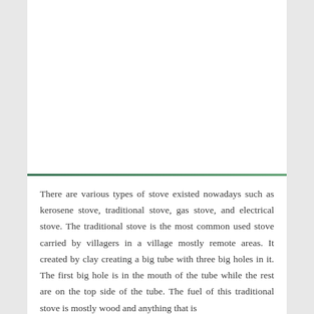There are various types of stove existed nowadays such as kerosene stove, traditional stove, gas stove, and electrical stove. The traditional stove is the most common used stove carried by villagers in a village mostly remote areas. It created by clay creating a big tube with three big holes in it. The first big hole is in the mouth of the tube while the rest are on the top side of the tube. The fuel of this traditional stove is mostly wood and anything that is